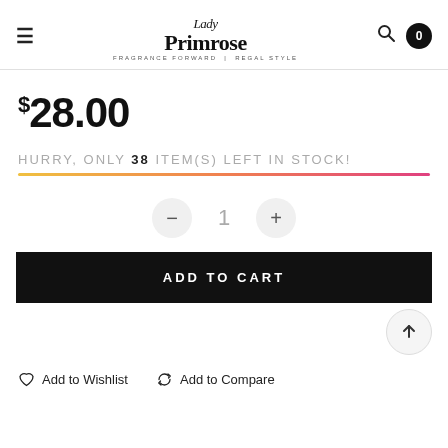Lady Primrose — FRAGRANCE FORWARD | REGAL STYLE
$28.00
HURRY, ONLY 38 ITEM(S) LEFT IN STOCK!
1
ADD TO CART
Add to Wishlist   Add to Compare